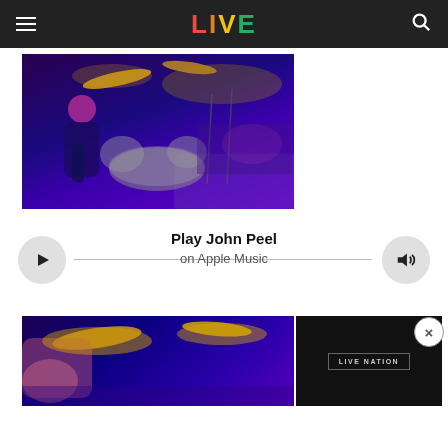LIVE
[Figure (photo): Concert photo viewed from behind a drummer on stage, blue/purple stage lighting, crowd visible in background, cymbals and drum kit prominent]
Play John Peel
on Apple Music
[Figure (photo): Second concert photo from similar angle, blue/purple lighting, cymbals visible, partial view at bottom of page with Live Nation advertisement overlay]